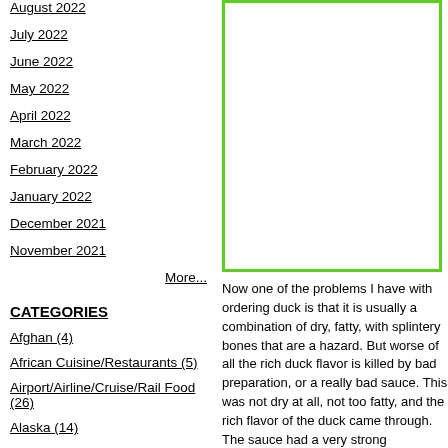August 2022
July 2022
June 2022
May 2022
April 2022
March 2022
February 2022
January 2022
December 2021
November 2021
More...
CATEGORIES
Afghan (4)
African Cuisine/Restaurants (5)
Airport/Airline/Cruise/Rail Food (26)
Alaska (14)
Alsace (12)
American Restaurants (417)
[Figure (other): Green-bordered box (advertisement or image placeholder) on the right column top]
Now one of the problems I have with ordering duck is that it is usually a combination of dry, fatty, with splintery bones that are a hazard. But worse of all the rich duck flavor is killed by bad preparation, or a really bad sauce. This was not dry at all, not too fatty, and the rich flavor of the duck came through. The sauce had a very strong somewhat sweet, garlic flavor. I could eat this(and a bowl of rice) daily. A really good example of what Duck with Chili and Garlic tasted like.
The Jungle Curry with Shrimp($8.95):
[Figure (photo): Photo of Jungle Curry with Shrimp dish in a bowl, showing shrimp and vegetables in a reddish-orange curry sauce, framed with green border]